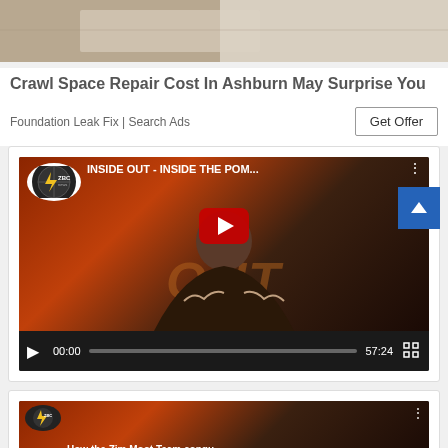[Figure (screenshot): Partial thumbnail image at top, showing a blurred/abstract background, likely a crawl space or foundation surface]
Crawl Space Repair Cost In Ashburn May Surprise You
Foundation Leak Fix | Search Ads
[Figure (screenshot): YouTube embedded video player showing ZBC News 'INSIDE OUT - INSIDE THE POM...' video, with a man gesturing on a TV set, red play button overlay, video controls showing 00:00 / 57:24]
[Figure (screenshot): Partial YouTube video thumbnail showing ZBC News 'How the Zim Moot Team conqu...' video]